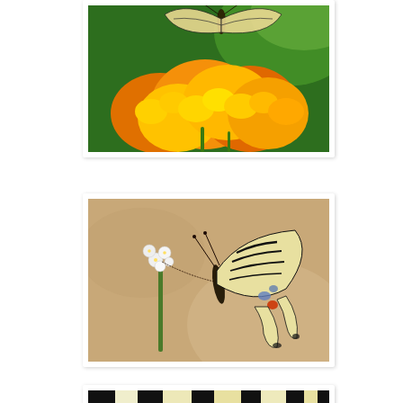[Figure (photo): Close-up photo of a swallowtail butterfly on bright orange and yellow Lantana flowers against a green background]
[Figure (photo): Close-up photo of a swallowtail butterfly (yellow with black markings) perched on a small white flower stem against a beige/tan background]
[Figure (photo): Close-up macro photo of butterfly wing scales showing yellow, black and white pattern]